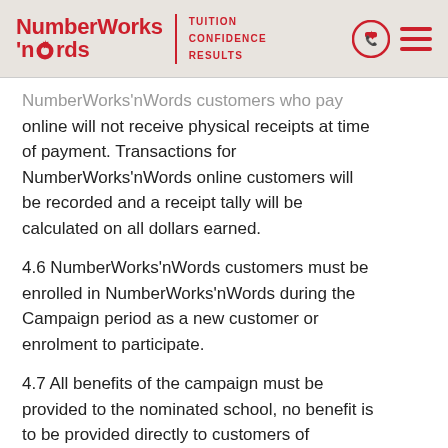NumberWorks'nWords | TUITION CONFIDENCE RESULTS
NumberWorks'nWords customers who pay online will not receive physical receipts at time of payment. Transactions for NumberWorks'nWords online customers will be recorded and a receipt tally will be calculated on all dollars earned.
4.6 NumberWorks'nWords customers must be enrolled in NumberWorks'nWords during the Campaign period as a new customer or enrolment to participate.
4.7 All benefits of the campaign must be provided to the nominated school, no benefit is to be provided directly to customers of NumberWorks'nWords centres.